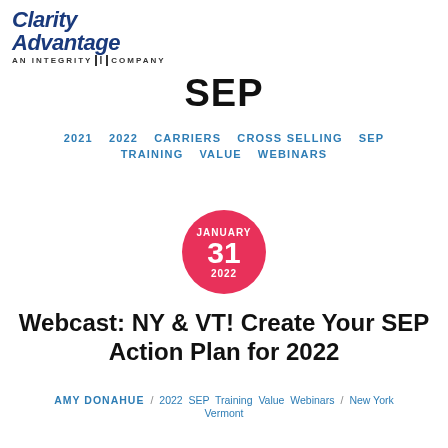[Figure (logo): Clarity Advantage - An Integrity Company logo, blue italic text with 'Clarity Advantage' stacked, below reads 'AN INTEGRITY II COMPANY']
SEP
2021
2022
CARRIERS
CROSS SELLING
SEP
TRAINING
VALUE
WEBINARS
[Figure (infographic): Red circle date badge showing JANUARY 31 2022]
Webcast: NY & VT! Create Your SEP Action Plan for 2022
AMY DONAHUE / 2022 SEP Training Value Webinars / New York Vermont